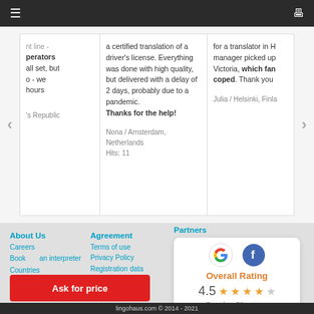Navigation bar with hamburger menu and monitor icon
a certified translation of a driver's license. Everything was done with high quality, but delivered with a delay of 2 days, probably due to a pandemic. Thanks for the help!

Nona / Amsterdam, Netherlands
Hits: 11
for a translator in H manager picked up Victoria, which fan coped. Thank you

Julia / Helsinki, Finla
nt line - perators all set, but o - we hours 's Republic
About Us
Careers
Book an interpreter
Countries
Agreement
Terms of use
Privacy Policy
Registration data
Partners
[Figure (infographic): Overall Rating card with Google and Facebook logos, showing 4.5 stars based on 50 reviews]
Ask for price
lingohaus.com © 2014 - 2021